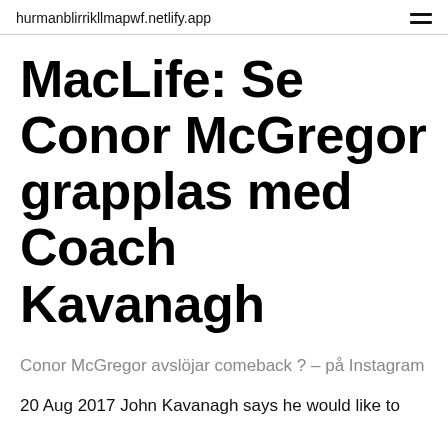hurmanblirrikllmapwf.netlify.app
MacLife: Se Conor McGregor grapplas med Coach Kavanagh
Conor McGregor avslöjar comeback ? – på Instagram
20 Aug 2017 John Kavanagh says he would like to